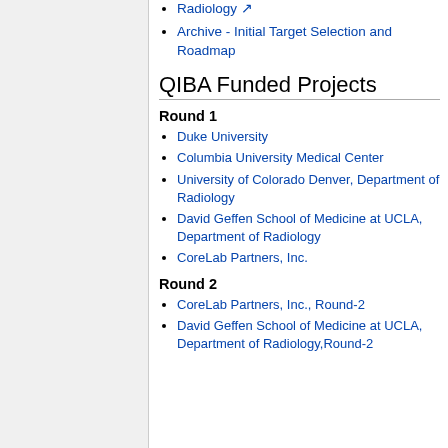Radiology
Archive - Initial Target Selection and Roadmap
QIBA Funded Projects
Round 1
Duke University
Columbia University Medical Center
University of Colorado Denver, Department of Radiology
David Geffen School of Medicine at UCLA, Department of Radiology
CoreLab Partners, Inc.
Round 2
CoreLab Partners, Inc., Round-2
David Geffen School of Medicine at UCLA, Department of Radiology,Round-2